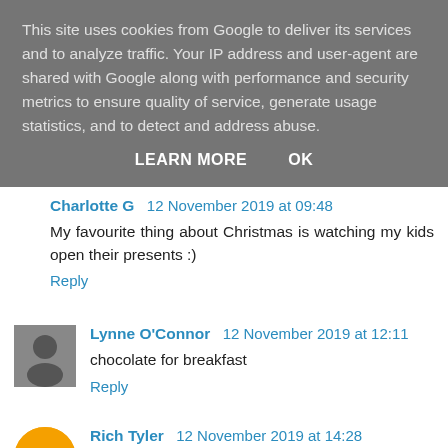This site uses cookies from Google to deliver its services and to analyze traffic. Your IP address and user-agent are shared with Google along with performance and security metrics to ensure quality of service, generate usage statistics, and to detect and address abuse.
LEARN MORE    OK
Charlotte G  12 November 2019 at 09:48
My favourite thing about Christmas is watching my kids open their presents :)
Reply
Lynne O'Connor  12 November 2019 at 12:11
chocolate for breakfast
Reply
Rich Tyler  12 November 2019 at 14:28